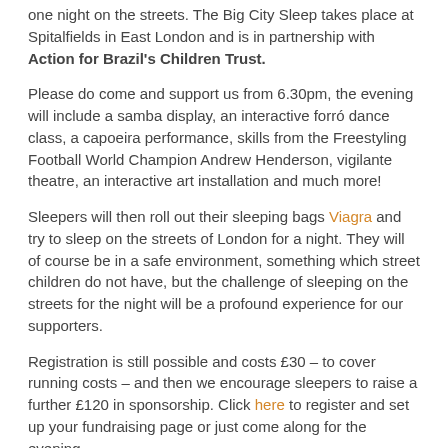one night on the streets. The Big City Sleep takes place at Spitalfields in East London and is in partnership with Action for Brazil's Children Trust.
Please do come and support us from 6.30pm, the evening will include a samba display, an interactive forró dance class, a capoeira performance, skills from the Freestyling Football World Champion Andrew Henderson, vigilante theatre, an interactive art installation and much more!
Sleepers will then roll out their sleeping bags Viagra and try to sleep on the streets of London for a night. They will of course be in a safe environment, something which street children do not have, but the challenge of sleeping on the streets for the night will be a profound experience for our supporters.
Registration is still possible and costs £30 – to cover running costs – and then we encourage sleepers to raise a further £120 in sponsorship. Click here to register and set up your fundraising page or just come along for the evening.